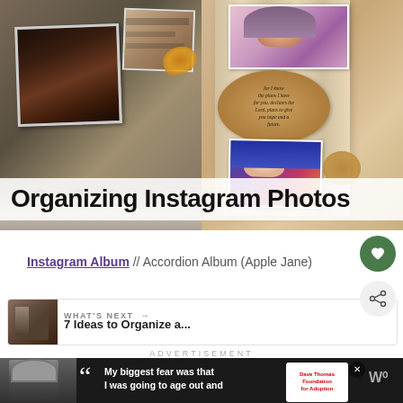[Figure (photo): Composite image showing Instagram photos being organized — left side shows printed photos in a binder/album, right side shows an accordion-style folded photo album with photos and a decorative oval label. Text overlay at bottom reads 'Organizing Instagram Photos'.]
Instagram Album // Accordion Album (Apple Jane)
ADVERTISEMENT
WHAT'S NEXT → 7 Ideas to Organize a...
[Figure (photo): Advertisement banner showing a person in a beanie hat in black and white, with quote text 'My biggest fear was that I was going to age out and', Dave Thomas Foundation for Adoption logo, and a W symbol at right.]